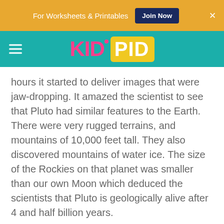For Worksheets & Printables  Join Now  ×
[Figure (logo): KidPid logo with hamburger menu on teal navigation bar]
hours it started to deliver images that were jaw-dropping. It amazed the scientist to see that Pluto had similar features to the Earth. There were very rugged terrains, and mountains of 10,000 feet tall. They also discovered mountains of water ice. The size of the Rockies on that planet was smaller than our own Moon which deduced the scientists that Pluto is geologically alive after 4 and half billion years.
But one recent photo further fueled Pluto's